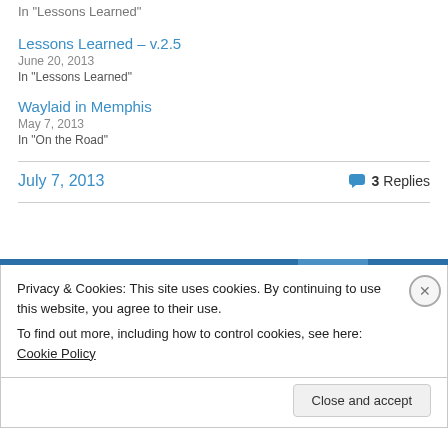In "Lessons Learned"
Lessons Learned – v.2.5
June 20, 2013
In "Lessons Learned"
Waylaid in Memphis
May 7, 2013
In "On the Road"
July 7, 2013
3 Replies
Privacy & Cookies: This site uses cookies. By continuing to use this website, you agree to their use.
To find out more, including how to control cookies, see here: Cookie Policy
Close and accept